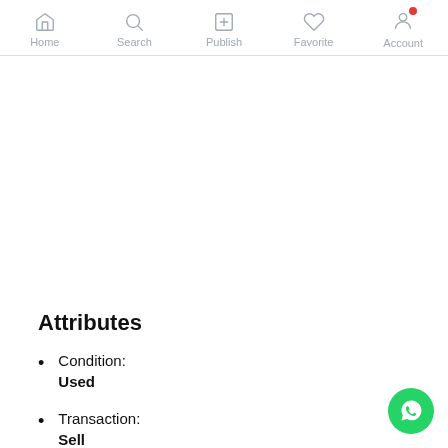Home  Search  Publish  Favorite  Account
Attributes
Condition: Used
Transaction: Sell
Car details